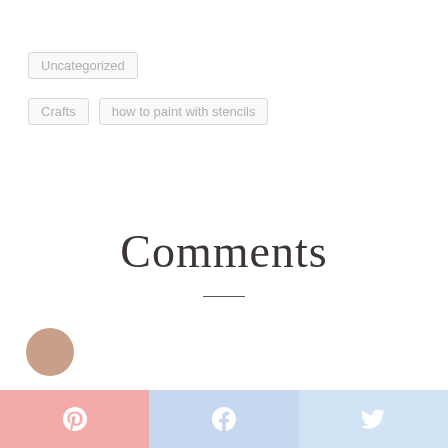Uncategorized
Crafts   how to paint with stencils
Comments
[Figure (other): Small circular avatar image partially visible at bottom left]
Pinterest share button | Facebook share button | Twitter share button